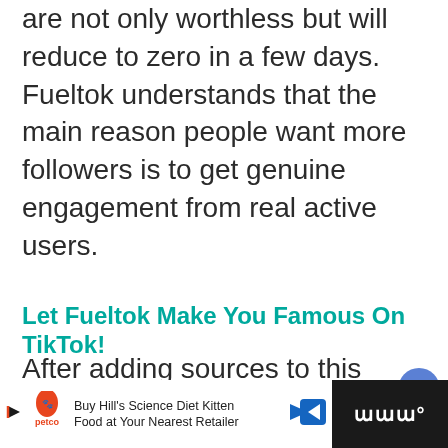are not only worthless but will reduce to zero in a few days.  Fueltok understands that the main reason people want more followers is to get genuine engagement from real active users.
Let Fueltok Make You Famous On TikTok!
After adding sources to this TikTok followers bot with your desired settings you are ready to go.
[Figure (other): Bottom advertisement bar for Petco Hill's Science Diet Kitten Food with navigation arrow icon and dark right panel with Tubi logo]
Buy Hill's Science Diet Kitten Food at Your Nearest Retailer